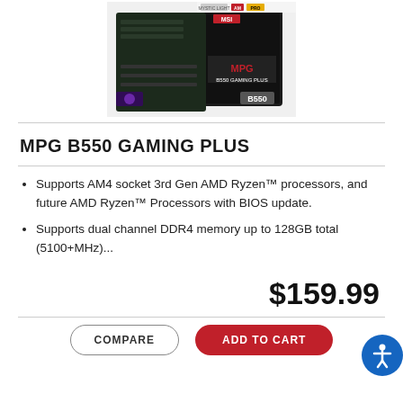[Figure (photo): MSI MPG B550 Gaming Plus motherboard product photo with box packaging. Shows the motherboard and its retail box with MSI branding, B550 chipset label, and Mystic Light/AMD logos.]
MPG B550 GAMING PLUS
Supports AM4 socket 3rd Gen AMD Ryzen™ processors, and future AMD Ryzen™ Processors with BIOS update.
Supports dual channel DDR4 memory up to 128GB total (5100+MHz)...
$159.99
COMPARE
ADD TO CART